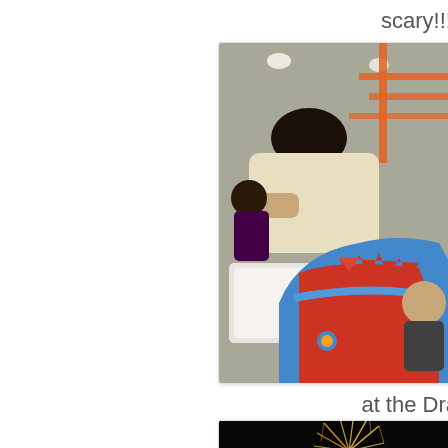scary!!!!
[Figure (photo): People riding a dragon-themed amusement ride indoors. A man in a sleeveless white shirt is leaning forward, and a young child is visible in a red and blue dragon-shaped ride car. Orange metal structure visible in background.]
at the Dra
[Figure (photo): Fireworks display at night, showing golden and white firework trails against a dark sky, with what appears to be decorative lights below.]